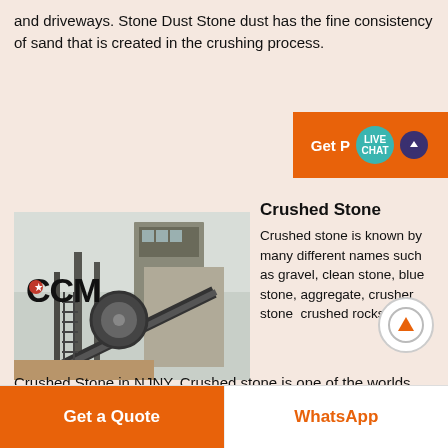and driveways. Stone Dust Stone dust has the fine consistency of sand that is created in the crushing process.
[Figure (screenshot): Orange 'Get Price' button with Live Chat bubble overlay and dark chat icon]
[Figure (photo): Industrial stone crushing machine with CCM logo, large metal structure with conveyor belt]
Crushed Stone
Crushed stone is known by many different names such as gravel, clean stone, blue stone, aggregate, crusher stone, crushed rocks. Buy Crushed Stone in NJNY. Crushed stone is one of the worlds most widely available natural resources. It is an
[Figure (other): Scroll-to-top circular button with upward arrow]
Get a Quote | WhatsApp